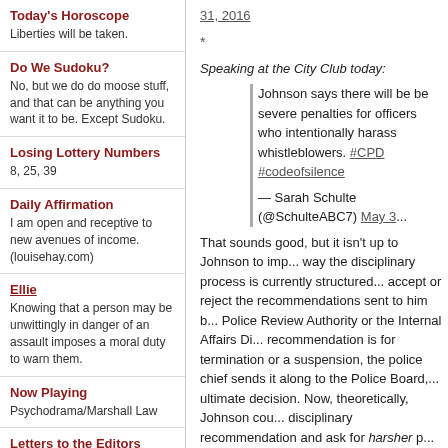31, 2016
*
Speaking at the City Club today:
Johnson says there will be be severe penalties for officers who intentionally harass whistleblowers. #CPD #codeofsilence
— Sarah Schulte (@SchulteABC7) May 3...
That sounds good, but it isn't up to Johnson to imp... way the disciplinary process is currently structured...
*
"[L]awyers for the two officers say Internal Affairs blew their cover," the Sun-Times reports.
"Spalding and Echeverria were branded 'rat mothe... their bosses did to out them in their unit. Th...
Today's Horoscope
Liberties will be taken.
Do We Sudoku?
No, but we do do moose stuff, and that can be anything you want it to be. Except Sudoku.
Losing Lottery Numbers
8, 25, 39
Daily Affirmation
I am open and receptive to new avenues of income. (louisehay.com)
Ellie
Knowing that a person may be unwittingly in danger of an assault imposes a moral duty to warn them.
Now Playing
Psychodrama/Marshall Law
Letters to the Editors
FAQ
About